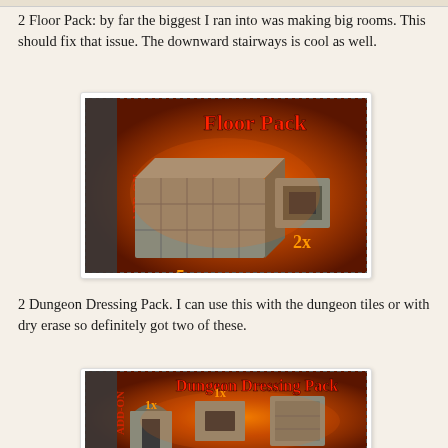2 Floor Pack: by far the biggest I ran into was making big rooms. This should fix that issue. The downward stairways is cool as well.
[Figure (photo): Floor Pack add-on product image showing stone floor tiles (5x) and a staircase piece (2x) on a fiery orange background with 'ADD-ON' text on the side.]
2 Dungeon Dressing Pack. I can use this with the dungeon tiles or with dry erase so definitely got two of these.
[Figure (photo): Dungeon Dressing Pack add-on product image showing dungeon dressing pieces (1x each) on a fiery orange background with 'ADD-ON' text on the side.]